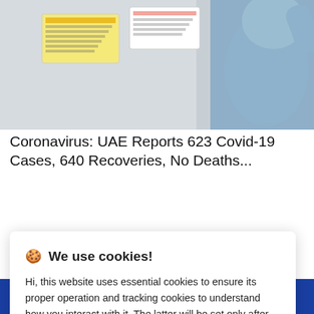[Figure (photo): Person wearing full blue PPE protective suit, standing in front of a wall with notices/signs posted on it.]
Coronavirus: UAE Reports 623 Covid-19 Cases, 640 Recoveries, No Deaths...
🍪 We use cookies!
Hi, this website uses essential cookies to ensure its proper operation and tracking cookies to understand how you interact with it. The latter will be set only after consent. Let me choose
Accept all
Reject all
[Figure (screenshot): Bottom blue banner showing partial text that reads ADVICE in large bold letters]